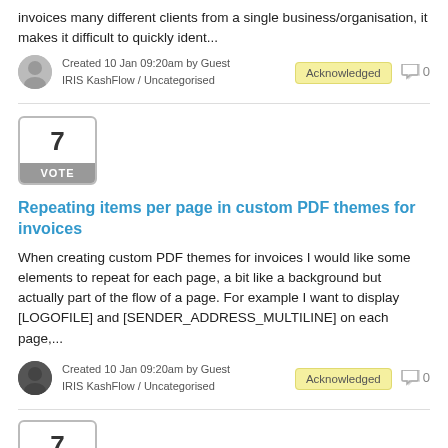invoices many different clients from a single business/organisation, it makes it difficult to quickly ident...
Created 10 Jan 09:20am by Guest
IRIS KashFlow / Uncategorised
Acknowledged  0
[Figure (other): Vote box showing number 7 with VOTE label]
Repeating items per page in custom PDF themes for invoices
When creating custom PDF themes for invoices I would like some elements to repeat for each page, a bit like a background but actually part of the flow of a page. For example I want to display [LOGOFILE] and [SENDER_ADDRESS_MULTILINE] on each page,...
Created 10 Jan 09:20am by Guest
IRIS KashFlow / Uncategorised
Acknowledged  0
[Figure (other): Vote box showing number 7 (partial, bottom of page)]